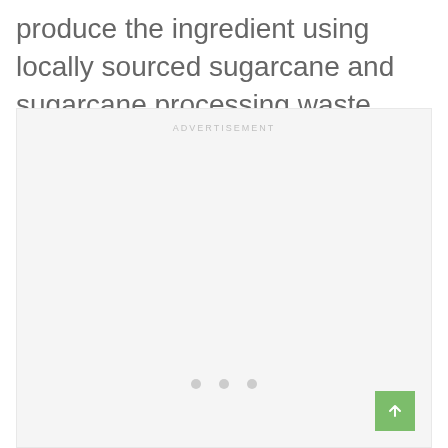produce the ingredient using locally sourced sugarcane and sugarcane processing waste.
[Figure (other): Advertisement placeholder box with 'ADVERTISEMENT' label, three loading dots, and a green back-to-top button]